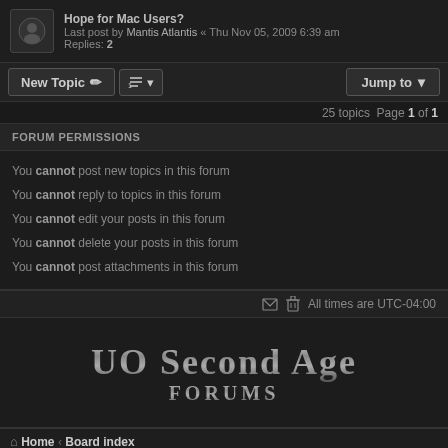Hope for Mac Users? Last post by Mantis Atlantis « Thu Nov 05, 2009 6:39 am Replies: 2
New Topic | Jump to
25 topics Page 1 of 1
FORUM PERMISSIONS
You cannot post new topics in this forum
You cannot reply to topics in this forum
You cannot edit your posts in this forum
You cannot delete your posts in this forum
You cannot post attachments in this forum
All times are UTC-04:00
[Figure (logo): UO Second Age Forums metallic-styled logo text]
Home · Board index
Powered by phpBB® Forum Software © phpBB Limited
BlackBoard style V.3.2.9 by FanFanlaTuFlippe
Privacy | Terms